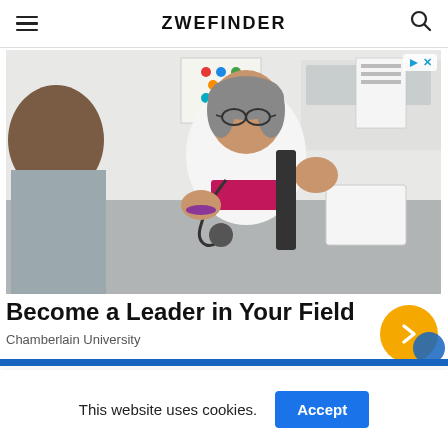ZWEFINDER
[Figure (photo): A female doctor with gray hair and glasses wearing a white coat and stethoscope, gesturing with her hands while speaking to a patient. Medical office background with shelves and posters visible.]
Become a Leader in Your Field
Chamberlain University
This website uses cookies.